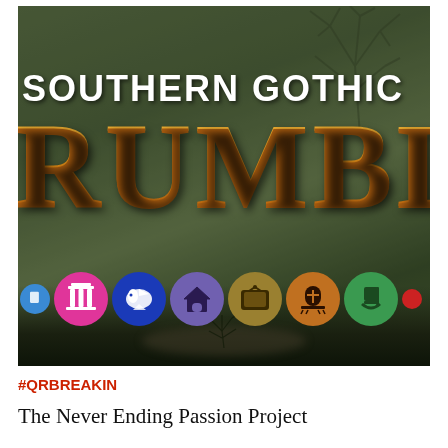[Figure (illustration): Southern Gothic Rumble banner image with dark, foggy bayou background, bare spooky trees, large white text reading 'SOUTHERN GOTHIC' and large orange text reading 'RUMBLE' partially visible. A row of circular category icons appears at the bottom of the image including icons for: a column/pillar (pink), a bird/dove (blue), a house (purple), a TV (tan/gold), a gravestone (orange), a rocking chair (green), and others.]
#QRBREAKIN
The Never Ending Passion Project